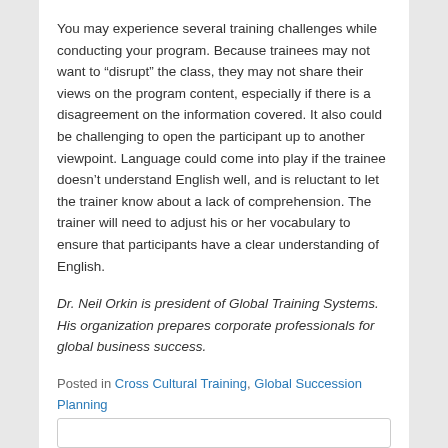You may experience several training challenges while conducting your program. Because trainees may not want to “disrupt” the class, they may not share their views on the program content, especially if there is a disagreement on the information covered. It also could be challenging to open the participant up to another viewpoint. Language could come into play if the trainee doesn’t understand English well, and is reluctant to let the trainer know about a lack of comprehension. The trainer will need to adjust his or her vocabulary to ensure that participants have a clear understanding of English.
Dr. Neil Orkin is president of Global Training Systems. His organization prepares corporate professionals for global business success.
Posted in Cross Cultural Training, Global Succession Planning